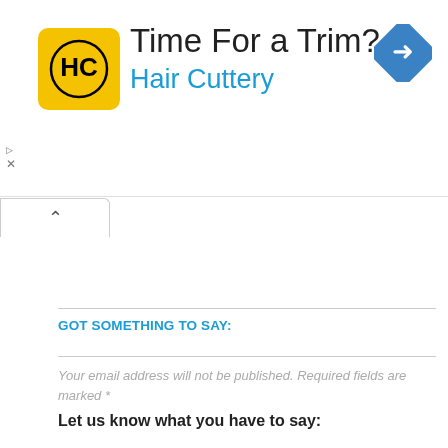[Figure (infographic): Hair Cuttery advertisement banner with yellow logo showing 'HC' monogram, headline 'Time For a Trim?', subheadline 'Hair Cuttery' in blue, and a blue diamond-shaped turn arrow icon on the right.]
GOT SOMETHING TO SAY:
Your email address will not be published. Required fields are marked *
Let us know what you have to say:
Name